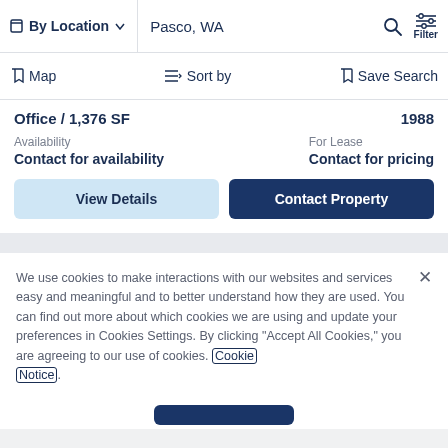By Location  Pasco, WA  Filter
Map  Sort by  Save Search
Office / 1,376 SF  1988
Availability  Contact for availability  For Lease  Contact for pricing
View Details  Contact Property
We use cookies to make interactions with our websites and services easy and meaningful and to better understand how they are used. You can find out more about which cookies we are using and update your preferences in Cookies Settings. By clicking “Accept All Cookies,” you are agreeing to our use of cookies. Cookie Notice.